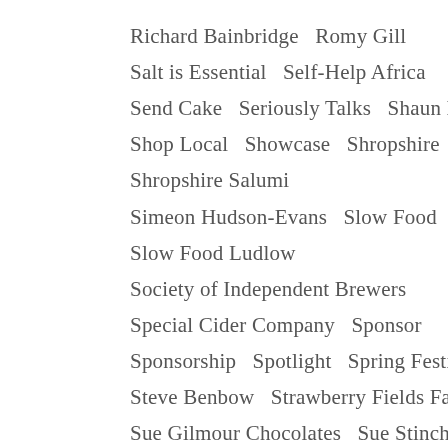Richard Bainbridge   Romy Gill
Salt is Essential   Self-Help Africa
Send Cake   Seriously Talks   Shaun Hill
Shop Local   Showcase   Shropshire
Shropshire Salumi
Simeon Hudson-Evans   Slow Food
Slow Food Ludlow
Society of Independent Brewers
Special Cider Company   Sponsor
Sponsorship   Spotlight   Spring Festival
Steve Benbow   Strawberry Fields Farm
Sue Gilmour Chocolates   Sue Stinchombe
Sunday Market   Suree Coates
Sustainability   Swift's Bakery